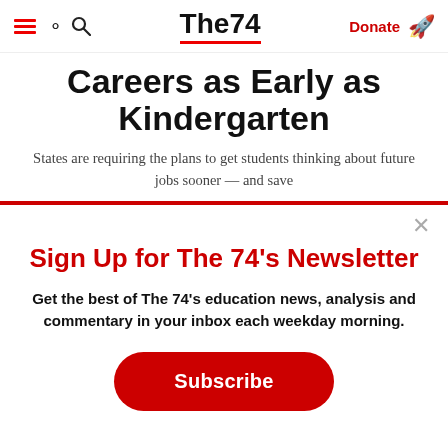The74 | Donate
Careers as Early as Kindergarten
States are requiring the plans to get students thinking about future jobs sooner — and save
Sign Up for The 74's Newsletter
Get the best of The 74's education news, analysis and commentary in your inbox each weekday morning.
Subscribe